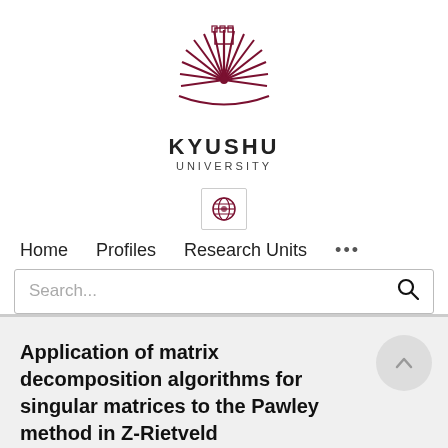[Figure (logo): Kyushu University logo — sunburst emblem in dark red/maroon with castle tower motif]
KYUSHU
UNIVERSITY
[Figure (other): Globe icon in a bordered box representing language/region selector]
Home   Profiles   Research Units   ...
Search...
Application of matrix decomposition algorithms for singular matrices to the Pawley method in Z-Rietveld